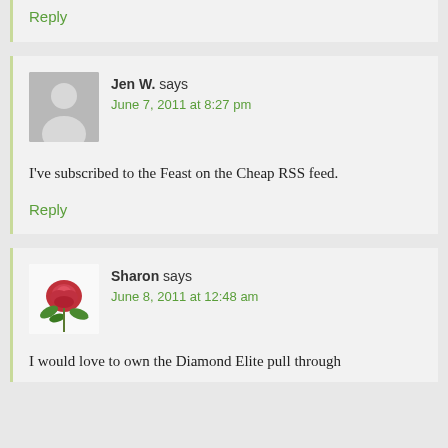Reply
Jen W. says
June 7, 2011 at 8:27 pm
I've subscribed to the Feast on the Cheap RSS feed.
Reply
Sharon says
June 8, 2011 at 12:48 am
I would love to own the Diamond Elite pull through